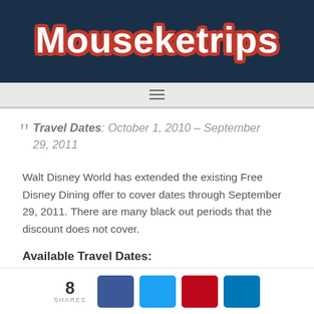Mouseketrips
Travel Dates: October 1, 2010 – September 29, 2011
Walt Disney World has extended the existing Free Disney Dining offer to cover dates through September 29, 2011. There are many black out periods that the discount does not cover.
Available Travel Dates:
8 SHARES